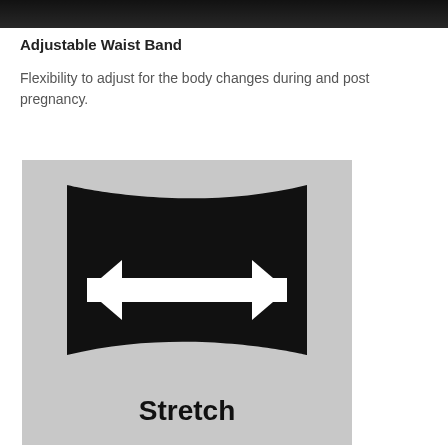[Figure (illustration): Top portion of a dark/black product image cropped at the top of the page]
Adjustable Waist Band
Flexibility to adjust for the body changes during and post pregnancy.
[Figure (illustration): A stretch indicator graphic on a light grey background showing a black hourglass/barrel shape (fabric being stretched horizontally) with a white double-headed horizontal arrow overlaid, and the word 'Stretch' in bold black text at the bottom]